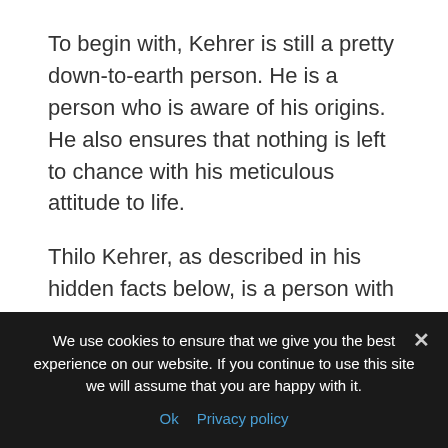To begin with, Kehrer is still a pretty down-to-earth person. He is a person who is aware of his origins. He also ensures that nothing is left to chance with his meticulous attitude to life.
Thilo Kehrer, as described in his hidden facts below, is a person with a sympathetic heart and a great sense of humanity.
Thilo Kehrer Family: Meet
We use cookies to ensure that we give you the best experience on our website. If you continue to use this site we will assume that you are happy with it.